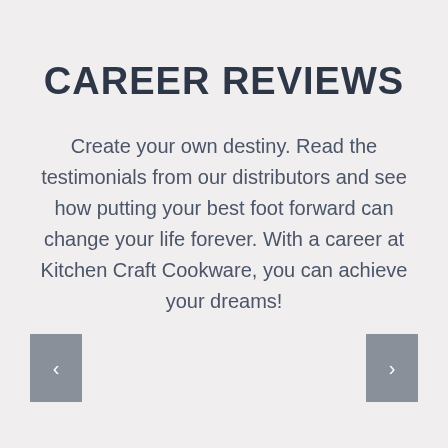CAREER REVIEWS
Create your own destiny. Read the testimonials from our distributors and see how putting your best foot forward can change your life forever. With a career at Kitchen Craft Cookware, you can achieve your dreams!